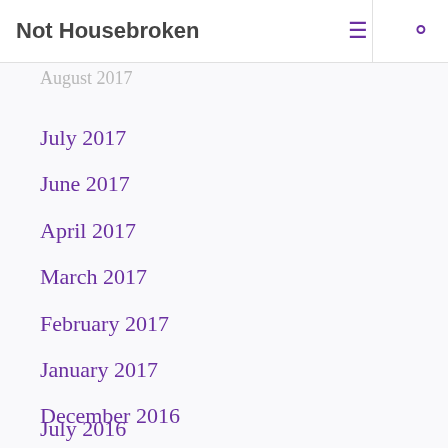September 2017
Not Housebroken
August 2017
July 2017
June 2017
April 2017
March 2017
February 2017
January 2017
December 2016
November 2016
October 2016
September 2016
August 2016
July 2016